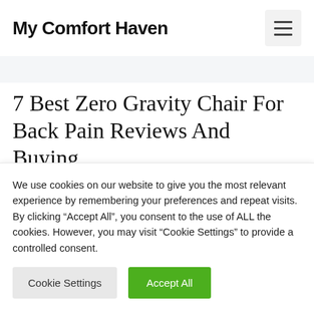My Comfort Haven
7 Best Zero Gravity Chair For Back Pain Reviews And Buying
We use cookies on our website to give you the most relevant experience by remembering your preferences and repeat visits. By clicking “Accept All”, you consent to the use of ALL the cookies. However, you may visit "Cookie Settings" to provide a controlled consent.